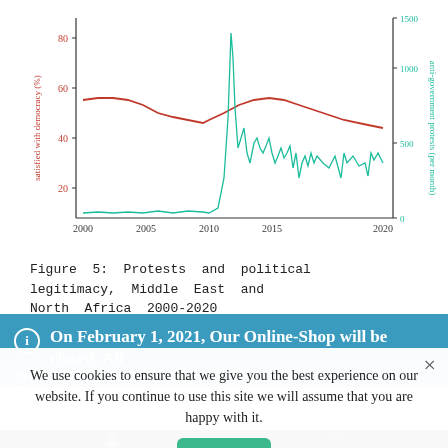[Figure (continuous-plot): Dual-axis line chart showing protests and political legitimacy in Middle East and North Africa 2000-2020. Left y-axis: satisfied with democracy (%), range ~20-80. Right y-axis: anti-government protests (per month), range 0-1500+. Red/pink line shows satisfaction with democracy declining from ~55% in 2000 to ~45% around 2005, then rising to ~55% around 2011-2013, then declining. Teal/green line shows anti-government protests near zero until 2010 (Arab Spring spike to ~1500+), then remaining elevated with spikes through 2020.]
Figure 5: Protests and political legitimacy, Middle East and North Africa 2000-2020
On February 1, 2021, Our Online-Shop will be closed. All orders until January 31 will be delivered
Dismiss
We use cookies to ensure that we give you the best experience on our website. If you continue to use this site we will assume that you are happy with it.